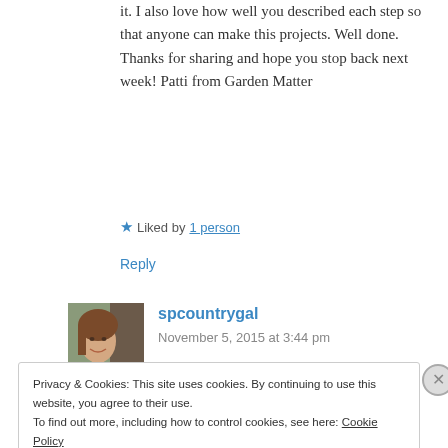it. I also love how well you described each step so that anyone can make this projects. Well done. Thanks for sharing and hope you stop back next week! Patti from Garden Matter
★ Liked by 1 person
Reply
[Figure (photo): Profile photo of spcountrygal – woman smiling in front of a tree, wearing a blue shirt]
spcountrygal
November 5, 2015 at 3:44 pm
Privacy & Cookies: This site uses cookies. By continuing to use this website, you agree to their use.
To find out more, including how to control cookies, see here: Cookie Policy
Close and accept